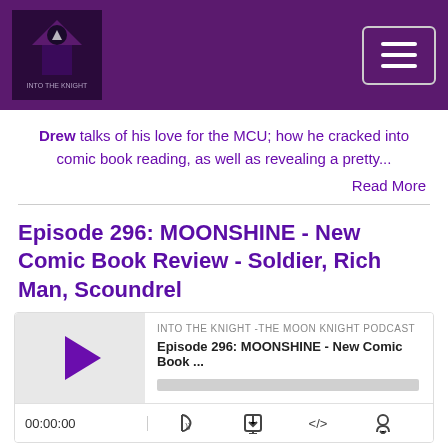Into The Knight - The Moon Knight Podcast website header with logo and hamburger menu
Drew talks of his love for the MCU; how he cracked into comic book reading, as well as revealing a pretty...
Read More
Episode 296: MOONSHINE - New Comic Book Review - Soldier, Rich Man, Scoundrel
[Figure (screenshot): Podcast audio player showing INTO THE KNIGHT -THE MOON KNIGHT PODCAST, Episode 296: MOONSHINE - New Comic Book ..., with play button, progress bar, time 00:00:00, and controls]
Aug 4, 2022
[Figure (photo): Comic book cover preview showing Moonshine title text in teal on dark background with Marvel logo]